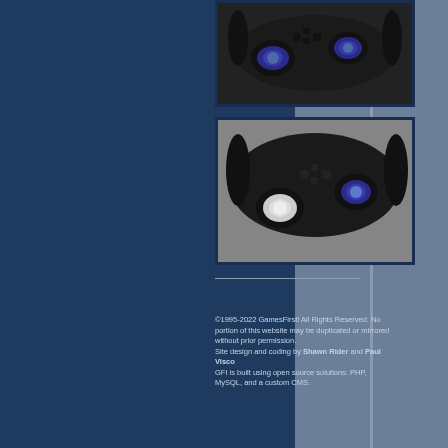[Figure (photo): Black PlayStation 2 DualShock controller with blue analog stick toppers featuring a running figure logo, viewed from above on a light surface.]
[Figure (photo): Black PlayStation 2 DualShock controller with white and blue analog stick toppers featuring a running figure logo, viewed from a slightly elevated front angle on a white surface.]
©1995-2022 GamesFirst! All Rights Reserved. No portion of this website may be duplicated or mirrored without prior permission.
Site design and coding by Shawn Rider and Paul Visco
GFI is built using open source solutions: PHP, MySQL, and a custom CMS.